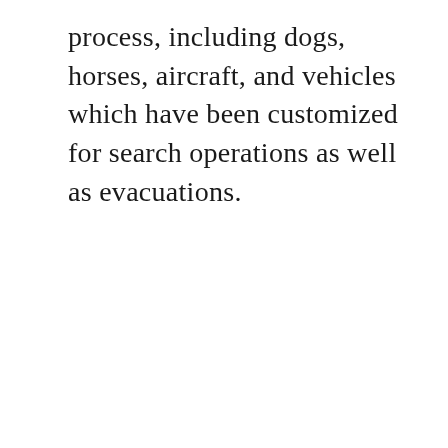process, including dogs, horses, aircraft, and vehicles which have been customized for search operations as well as evacuations.